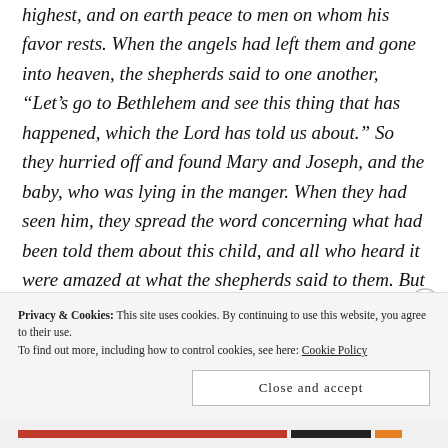highest, and on earth peace to men on whom his favor rests. When the angels had left them and gone into heaven, the shepherds said to one another, “Let’s go to Bethlehem and see this thing that has happened, which the Lord has told us about.” So they hurried off and found Mary and Joseph, and the baby, who was lying in the manger. When they had seen him, they spread the word concerning what had been told them about this child, and all who heard it were amazed at what the shepherds said to them. But Mary treasured up all these things and pondered them in her heart. The shepherds returned, glorifying and praising God for all the things they had heard
Privacy & Cookies: This site uses cookies. By continuing to use this website, you agree to their use.
To find out more, including how to control cookies, see here: Cookie Policy
Close and accept